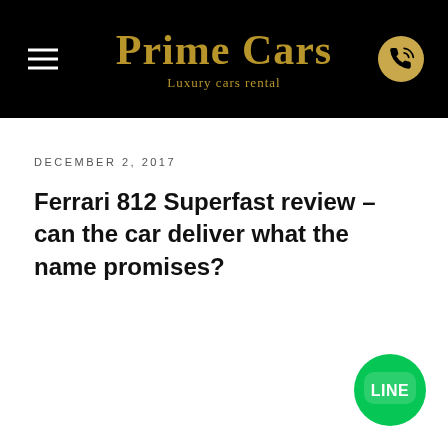Prime Cars — Luxury cars rental
DECEMBER 2, 2017
Ferrari 812 Superfast review – can the car deliver what the name promises?
[Figure (logo): LINE messaging app green circle button with speech bubble and 'LINE' text]